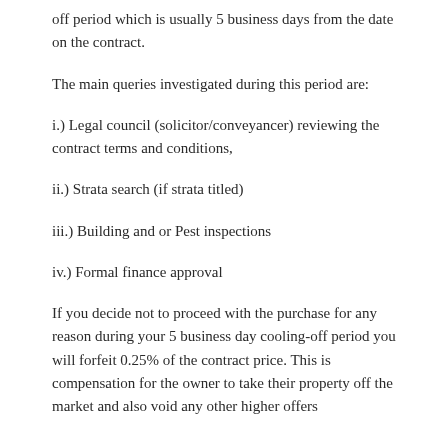off period which is usually 5 business days from the date on the contract.
The main queries investigated during this period are:
i.) Legal council (solicitor/conveyancer) reviewing the contract terms and conditions,
ii.) Strata search (if strata titled)
iii.) Building and or Pest inspections
iv.) Formal finance approval
If you decide not to proceed with the purchase for any reason during your 5 business day cooling-off period you will forfeit 0.25% of the contract price. This is compensation for the owner to take their property off the market and also void any other higher offers